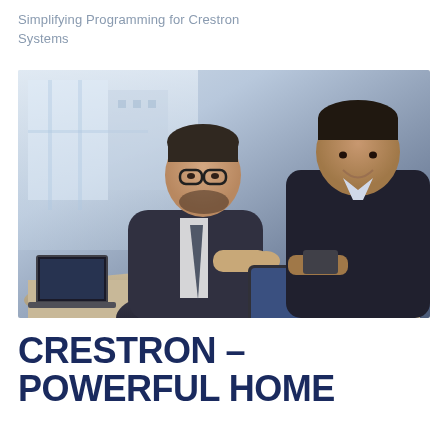Simplifying Programming for Crestron Systems
[Figure (photo): Two businessmen in suits sitting at a table, looking at a tablet device together. A laptop and glass of water are on the table. Office setting with bright window in background.]
CRESTRON – POWERFUL HOME